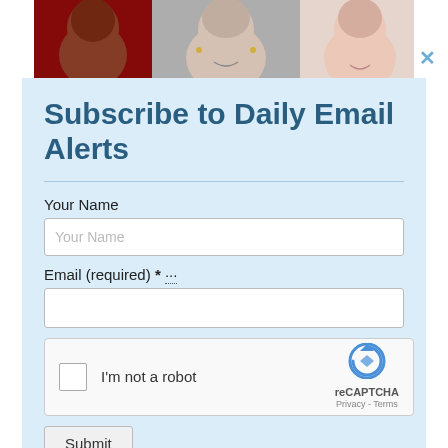[Figure (photo): Three people photo strip at top of a subscription modal overlay]
Subscribe to Daily Email Alerts
Your Name
Email (required) *
[Figure (other): reCAPTCHA widget with checkbox 'I'm not a robot']
Submit
By submitting this form, you are consenting to receive marketing emails from: News With Views, P.O. Box 990, Spring Branch, TX, 78070-9998,